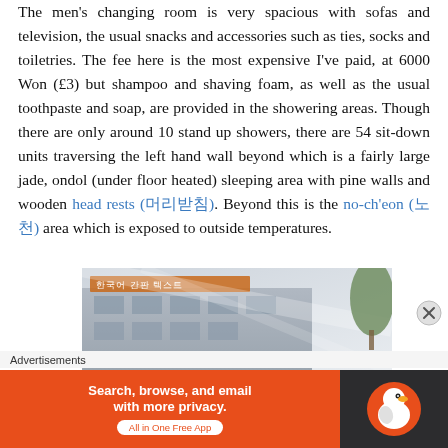The men's changing room is very spacious with sofas and television, the usual snacks and accessories such as ties, socks and toiletries. The fee here is the most expensive I've paid, at 6000 Won (£3) but shampoo and shaving foam, as well as the usual toothpaste and soap, are provided in the showering areas. Though there are only around 10 stand up showers, there are 54 sit-down units traversing the left hand wall beyond which is a fairly large jade, ondol (under floor heated) sleeping area with pine walls and wooden head rests (머리받침). Beyond this is the no-ch'eon (노천) area which is exposed to outside temperatures.
[Figure (photo): Exterior photo of a building with Korean signage, partially visible]
Advertisements
[Figure (screenshot): DuckDuckGo advertisement banner: Search, browse, and email with more privacy. All in One Free App. Orange background with DuckDuckGo logo on dark right panel.]